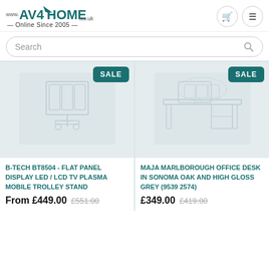[Figure (logo): AV4HOME logo with roof/house graphic and www.AV4HOME.co.uk text, tagline: Online Since 2005]
Search
[Figure (photo): B-TECH BT8504 flat panel display LED/LCD TV plasma mobile trolley stand product image with SALE badge]
[Figure (photo): MAJA Marlborough office desk in sonoma oak and high gloss grey product image with SALE badge]
B-TECH BT8504 - FLAT PANEL DISPLAY LED / LCD TV PLASMA MOBILE TROLLEY STAND
From £449.00  £551.00
MAJA MARLBOROUGH OFFICE DESK IN SONOMA OAK AND HIGH GLOSS GREY (9539 2574)
£349.00  £419.00